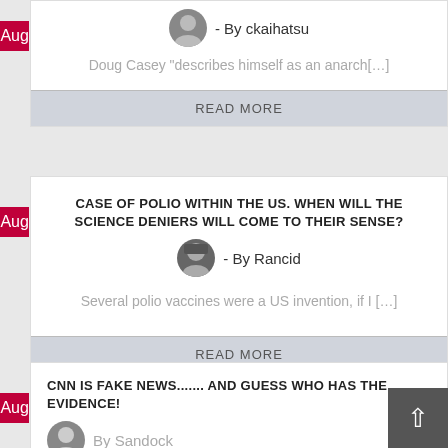- By ckaihatsu
Doug Casey "describes himself as an anarch[…]
READ MORE
CASE OF POLIO WITHIN THE US. WHEN WILL THE SCIENCE DENIERS WILL COME TO THEIR SENSE?
- By Rancid
Several polio vaccines were a US invention, if I […]
READ MORE
CNN IS FAKE NEWS....... AND GUESS WHO HAS THE EVIDENCE!
By Sandock